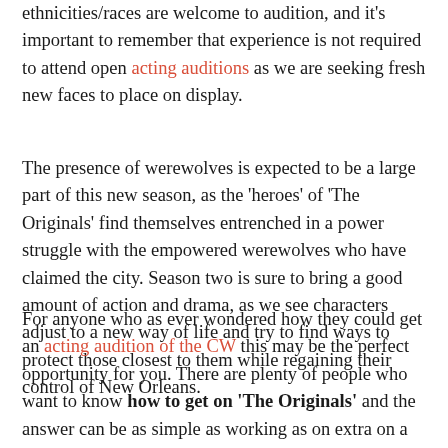ethnicities/races are welcome to audition, and it's important to remember that experience is not required to attend open acting auditions as we are seeking fresh new faces to place on display.
The presence of werewolves is expected to be a large part of this new season, as the 'heroes' of 'The Originals' find themselves entrenched in a power struggle with the empowered werewolves who have claimed the city. Season two is sure to bring a good amount of action and drama, as we see characters adjust to a new way of life and try to find ways to protect those closest to them while regaining their control of New Orleans.
For anyone who as ever wondered how they could get an acting audition of the CW this may be the perfect opportunity for you. There are plenty of people who want to know how to get on 'The Originals' and the answer can be as simple as working as on extra on a few episodes. This allows you a chance to meet the cast and staff, and if you can